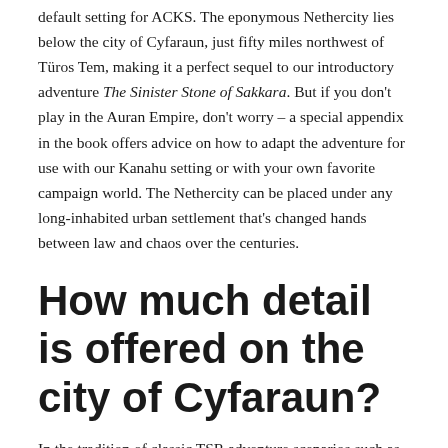default setting for ACKS. The eponymous Nethercity lies below the city of Cyfaraun, just fifty miles northwest of Türos Tem, making it a perfect sequel to our introductory adventure The Sinister Stone of Sakkara. But if you don't play in the Auran Empire, don't worry – a special appendix in the book offers advice on how to adapt the adventure for use with our Kanahu setting or with your own favorite campaign world. The Nethercity can be placed under any long-inhabited urban settlement that's changed hands between law and chaos over the centuries.
How much detail is offered on the city of Cyfaraun?
In the tradition of classic TSR adventure scenarios such as The Keep on the Borderlands and The Village of Hommlet, Secrets of the Nethercity gives you the information you need to use Cyfaraun as a home base for adventurers in your campaign. The level of detail in the city itself will be similar to that provided for the city of Harat in our Barbarian Conquerors of Kanahu supplement. But as we unlock